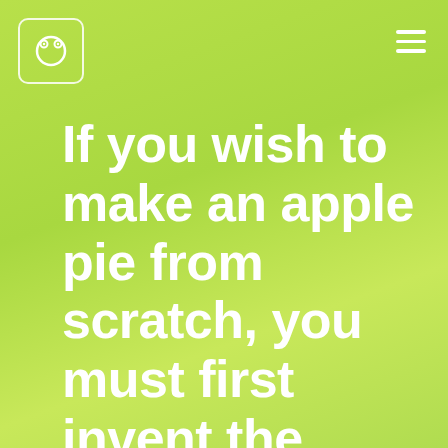[Figure (logo): White rounded square logo with stylized face/washing machine icon]
[Figure (other): Hamburger menu icon (three white horizontal lines) in top right corner]
If you wish to make an apple pie from scratch, you must first invent the universe.